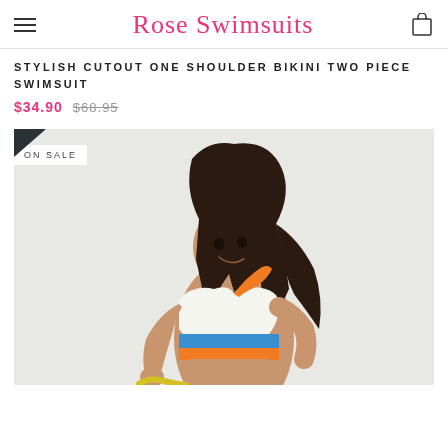Rose Swimsuits
STYLISH CUTOUT ONE SHOULDER BIKINI TWO PIECE SWIMSUIT
$34.90  $68.95
[Figure (photo): Model wearing a white sports-style bikini top with blue and orange stripes at the bottom, holding a yellow rope, photographed against a light background. An 'ON SALE' badge is visible in the upper left corner of the image.]